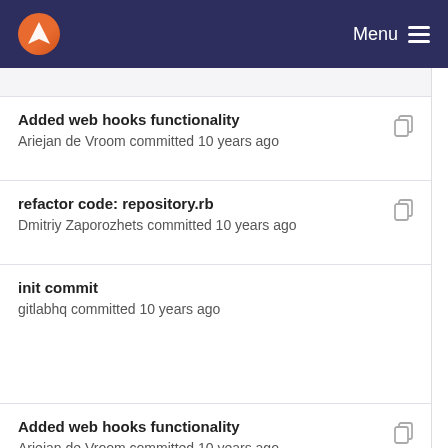Menu
Added web hooks functionality
Ariejan de Vroom committed 10 years ago
refactor code: repository.rb
Dmitriy Zaporozhets committed 10 years ago
init commit
gitlabhq committed 10 years ago
Added web hooks functionality
Ariejan de Vroom committed 10 years ago